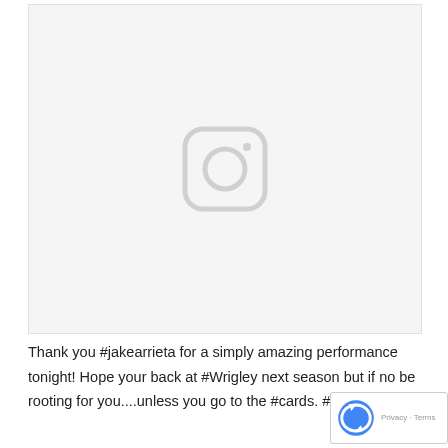[Figure (other): Instagram image placeholder with a light gray camera/Instagram icon centered on a light gray background]
Thank you #jakearrieta for a simply amazing performance tonight! Hope your back at #Wrigley next season but if no be rooting for you....unless you go to the #cards. #thatso